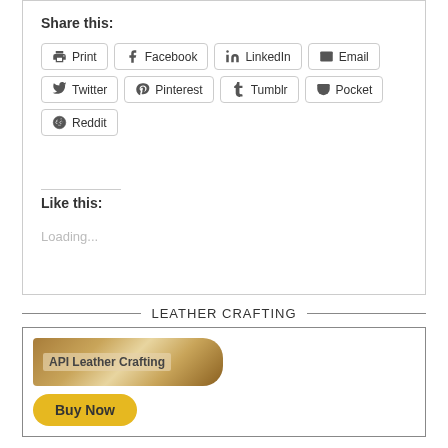Share this:
Print
Facebook
LinkedIn
Email
Twitter
Pinterest
Tumblr
Pocket
Reddit
Like this:
Loading...
LEATHER CRAFTING
[Figure (screenshot): API Leather Crafting product tag image with Buy Now button]